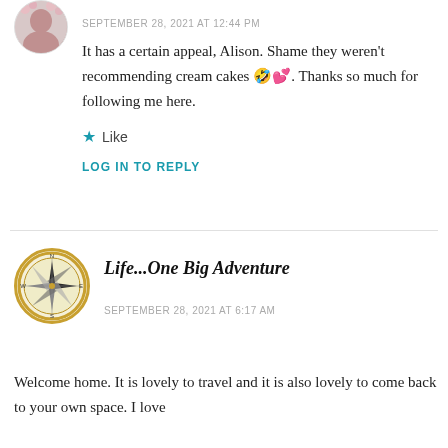[Figure (photo): Circular avatar photo of a person with floral background]
SEPTEMBER 28, 2021 AT 12:44 PM
It has a certain appeal, Alison. Shame they weren't recommending cream cakes 🤣💕. Thanks so much for following me here.
★ Like
LOG IN TO REPLY
[Figure (illustration): Circular compass logo avatar for Life...One Big Adventure]
Life...One Big Adventure
SEPTEMBER 28, 2021 AT 6:17 AM
Welcome home. It is lovely to travel and it is also lovely to come back to your own space. I love